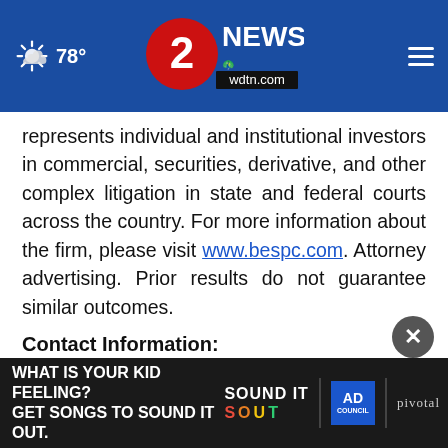78° | 2 NEWS wdtn.com
represents individual and institutional investors in commercial, securities, derivative, and other complex litigation in state and federal courts across the country. For more information about the firm, please visit www.bespc.com. Attorney advertising. Prior results do not guarantee similar outcomes.
Contact Information:
Braga... Brand... (partially visible, obscured by ad overlay)
[Figure (screenshot): Advertisement overlay at the bottom: 'WHAT IS YOUR KID FEELING? GET SONGS TO SOUND IT OUT.' with Sound It Out, Ad Council, and Pivotal logos on dark background. A close button (×) appears above the ad.]